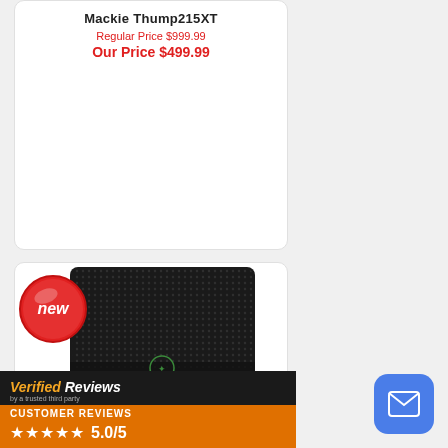Mackie Thump215XT
Regular Price $999.99
Our Price $499.99
[Figure (photo): Mackie subwoofer speaker in black, front-facing, with mesh grille and Mackie logo, shown with a red 'new' badge in the top-left corner]
Verified Reviews
CUSTOMER REVIEWS
★★★★★ 5.0/5